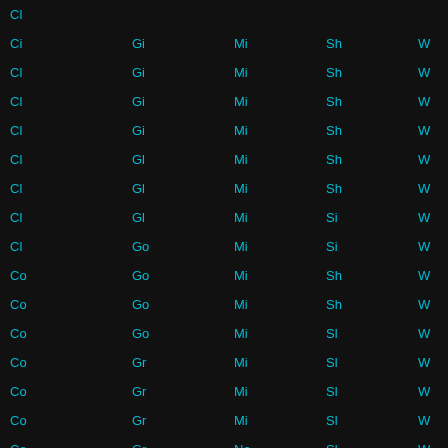| Col1 | Col2 | Col3 | Col4 | Col5 |
| --- | --- | --- | --- | --- |
| Cl |  |  |  |  |
| Ci | Gi | Mi | Sh | W |
| Cl | Gi | Mi | Sh | W |
| Cl | Gi | Mi | Sh | W |
| Cl | Gi | Mi | Sh | W |
| Cl | Gl | Mi | Sh | W |
| Cl | Gl | Mi | Sh | W |
| Cl | Gl | Mi | Si | W |
| Cl | Go | Mi | Si | W |
| Co | Go | Mi | Sh | W |
| Co | Go | Mi | Sh | W |
| Co | Go | Mi | Sl | W |
| Co | Gr | Mi | Sl | W |
| Co | Gr | Mi | Sl | W |
| Co | Gr | Mi | Sl | W |
| Co | Gr | Na | Sl | W |